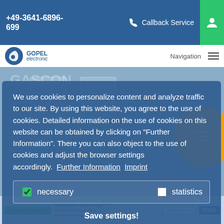+49-3641-6896-699   Callback Service
[Figure (screenshot): GOPEL electronic logo with navigation bar]
We use cookies to personalize content and analyze traffic to our site. By using this website, you agree to the use of cookies. Detailed information on the use of cookies on this website can be obtained by clicking on "Further Information". There you can also object to the use of cookies and adjust the browser settings accordingly. Further Information  Imprint
necessary   statistics
Save settings!
ACCEPT ALL!
[Figure (screenshot): Background website content showing SCANFLEX Controller diagram, Universelles Test Design, Fast Flash Programming, Frequenztablung, Test Access Port, FPGA labels]